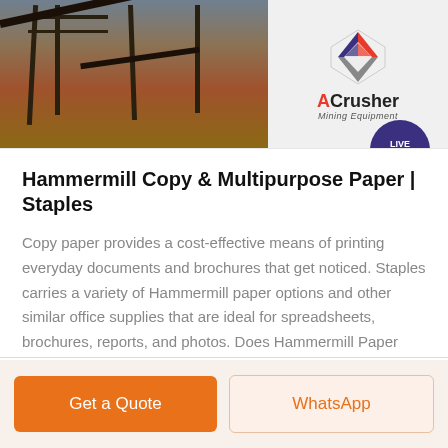[Figure (photo): Mining/construction site with scaffolding and conveyor belts on the left, and ACrusher Mining Equipment logo on the right]
Hammermill Copy & Multipurpose Paper | Staples
Copy paper provides a cost-effective means of printing everyday documents and brochures that get noticed. Staples carries a variety of Hammermill paper options and other similar office supplies that are ideal for spreadsheets, brochures, reports, and photos. Does Hammermill Paper Weight Matter? Copy paper is available in 20 to 60-pound weights.
Get Price
Get a Quote
WhatsApp